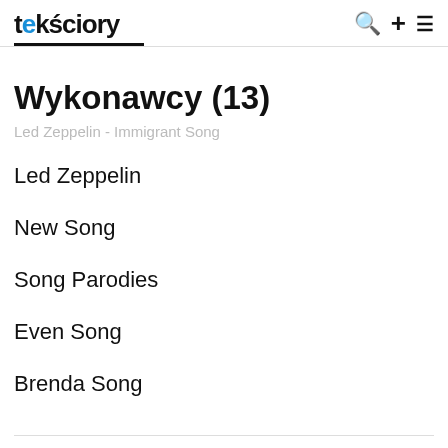tekściory
Wykonawcy (13)
Led Zeppelin - Immigrant Song
Led Zeppelin
New Song
Song Parodies
Even Song
Brenda Song